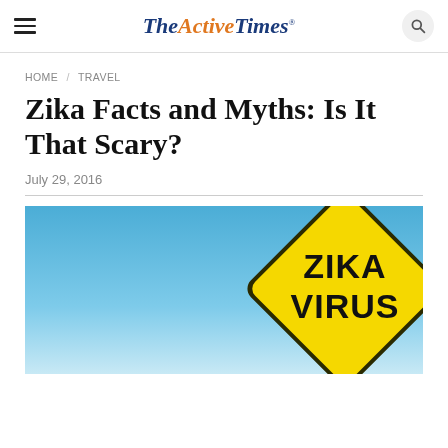TheActiveTimes
HOME / TRAVEL
Zika Facts and Myths: Is It That Scary?
July 29, 2016
[Figure (photo): Yellow diamond-shaped road warning sign reading 'ZIKA VIRUS' against a blue sky background]